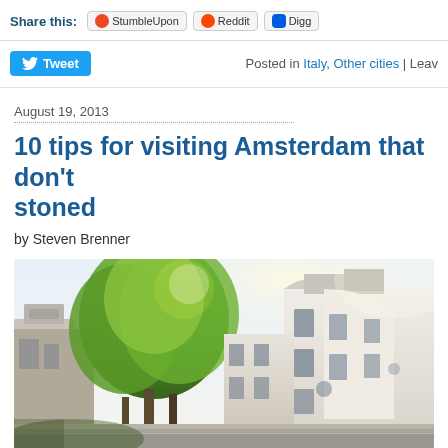Share this: StumbleUpon Reddit Digg
Posted in Italy, Other cities | Leav
Tweet
August 19, 2013
10 tips for visiting Amsterdam that don't involve getting stoned
by Steven Brenner
[Figure (photo): Amsterdam street scene with tall trees and historic white Dutch buildings along a canal street, bright natural lighting]